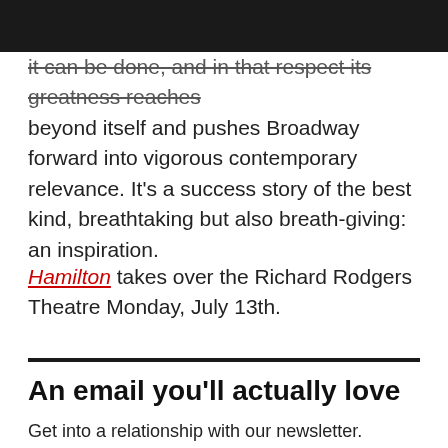it can be done, and in that respect its greatness reaches beyond itself and pushes Broadway forward into vigorous contemporary relevance. It's a success story of the best kind, breathtaking but also breath-giving: an inspiration.
Hamilton takes over the Richard Rodgers Theatre Monday, July 13th.
An email you'll actually love
Get into a relationship with our newsletter. Discover the best of the